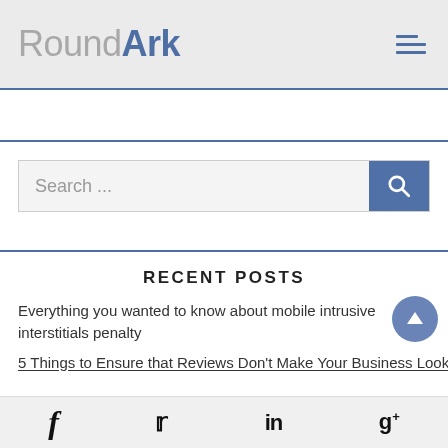RoundArk
[Figure (screenshot): Search bar with placeholder text 'Search ...' and a blue search button with magnifying glass icon]
RECENT POSTS
Everything you wanted to know about mobile intrusive interstitials penalty
5 Things to Ensure that Reviews Don't Make Your Business Look
f  Twitter  in  g+